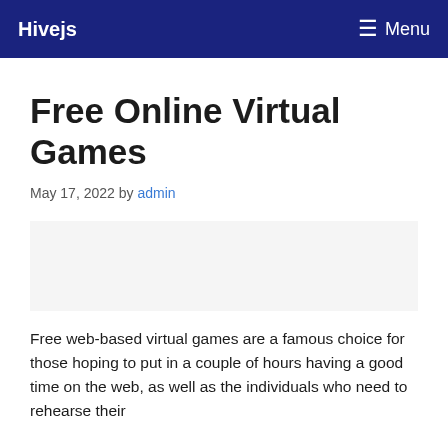Hivejs   ☰ Menu
Free Online Virtual Games
May 17, 2022 by admin
Free web-based virtual games are a famous choice for those hoping to put in a couple of hours having a good time on the web, as well as the individuals who need to rehearse their